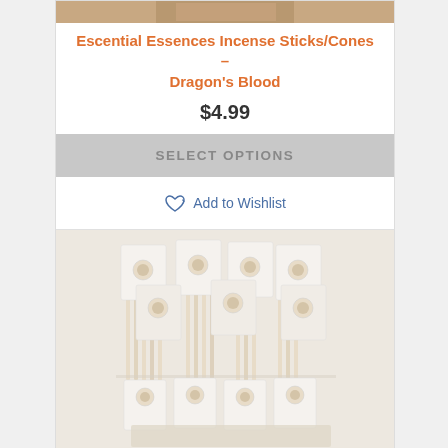[Figure (photo): Top portion of product photo showing incense sticks/cones - Dragon's Blood, partially visible at top of card]
Escential Essences Incense Sticks/Cones – Dragon's Blood
$4.99
SELECT OPTIONS
Add to Wishlist
[Figure (photo): Product photo showing multiple packages of incense sticks/cones with Dragon's Blood label, displayed in clear packaging with header cards showing circular logo]